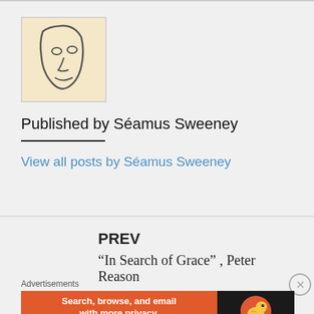[Figure (illustration): Small square thumbnail image showing a simple line drawing of a face on a beige/cream background]
Published by Séamus Sweeney
View all posts by Séamus Sweeney
PREV
“In Search of Grace” , Peter Reason
Advertisements
[Figure (screenshot): DuckDuckGo advertisement banner: orange background with text 'Search, browse, and email with more privacy. All in One Free App' and DuckDuckGo duck logo on dark right panel]